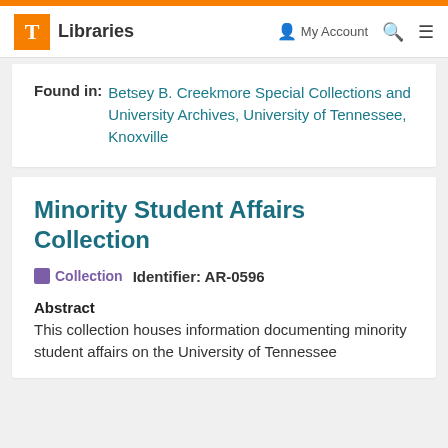T Libraries | My Account | Search | Menu
Found in: Betsey B. Creekmore Special Collections and University Archives, University of Tennessee, Knoxville
Minority Student Affairs Collection
Collection   Identifier: AR-0596
Abstract
This collection houses information documenting minority student affairs on the University of Tennessee